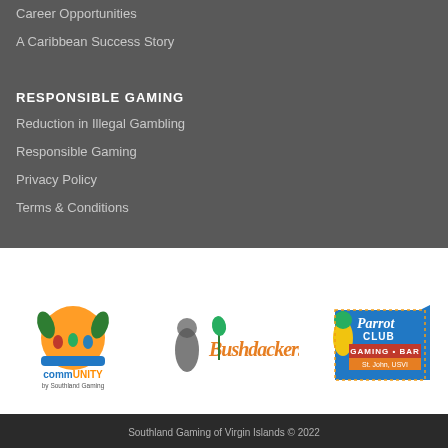Career Opportunities
A Caribbean Success Story
RESPONSIBLE GAMING
Reduction in Illegal Gambling
Responsible Gaming
Privacy Policy
Terms & Conditions
[Figure (logo): SGVI Southland Gaming Virgin Islands logo with blue block letters]
[Figure (logo): commUNITY by Southland Gaming logo with orange sun and people silhouette]
[Figure (logo): Bushdackers stylized parrot script logo]
[Figure (logo): Parrot Club Gaming Bar St. John USVI logo]
Southland Gaming of Virgin Islands © 2022